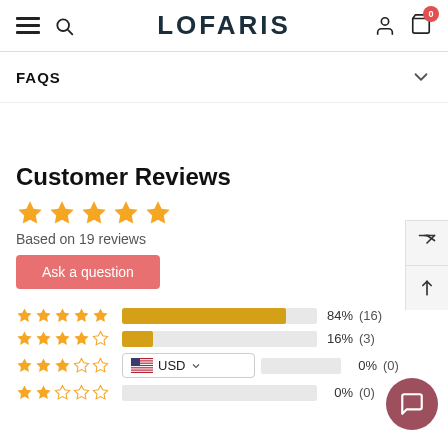LOFARIS
FAQS
Customer Reviews
Based on 19 reviews
Ask a question
[Figure (bar-chart): Rating distribution]
USD